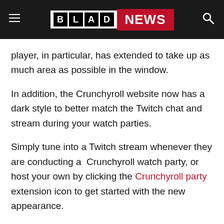BLAD NEWS
player, in particular, has extended to take up as much area as possible in the window.
In addition, the Crunchyroll website now has a dark style to better match the Twitch chat and stream during your watch parties.
Simply tune into a Twitch stream whenever they are conducting a  Crunchyroll watch party, or host your own by clicking the Crunchyroll party extension icon to get started with the new appearance.
About Crunchyroll party
Crunchyroll party created with the objective of making Netflix, anime, and movies more accessible to Twitch